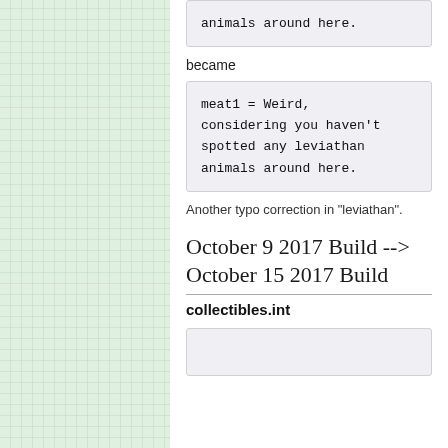[Figure (screenshot): Left panel with light green grid/dot pattern background]
animals around here.
became
meat1 = Weird,
considering you haven't
spotted any leviathan
animals around here.
Another typo correction in "leviathan".
October 9 2017 Build --> October 15 2017 Build
collectibles.int